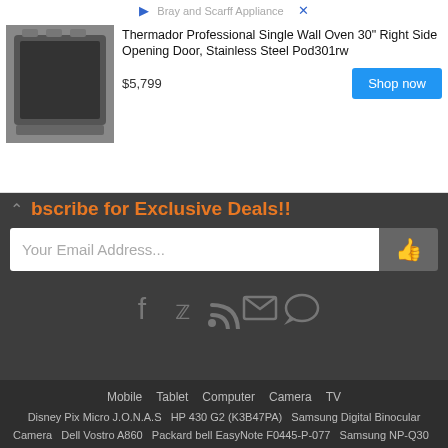[Figure (screenshot): Advertisement banner for Bray and Scarff Appliance showing a Thermador Professional Single Wall Oven 30" Right Side Opening Door, Stainless Steel Pod301rw priced at $5,799 with a Shop now button]
Subscribe for Exclusive Deals!!
Your Email Address...
[Figure (infographic): Social media icons: Facebook, Twitter, RSS feed, Email, Chat]
Mobile  Tablet  Computer  Camera  TV
Disney Pix Micro J.O.N.A.S  HP 430 G2 (K3B47PA)  Samsung Digital Binocular Camera  Dell Vostro A860  Packard bell EasyNote F0445-P-077  Samsung NP-Q30  NEO Basic B2180N  Apple MacBook - 2.4GHz, 250GB  Msi U135DX-V  Msi EX300 SPORTS
Copyright © 2015 PricePony. - All rights Reserved